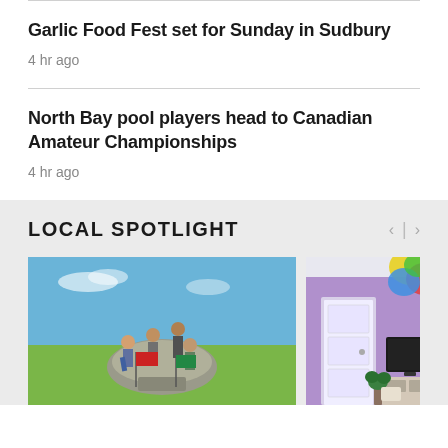Garlic Food Fest set for Sunday in Sudbury
4 hr ago
North Bay pool players head to Canadian Amateur Championships
4 hr ago
LOCAL SPOTLIGHT
[Figure (photo): Group of people sitting on a rock with flags (red and green) in an outdoor landscape with blue sky]
[Figure (photo): Interior room with purple wall and colorful decorations]